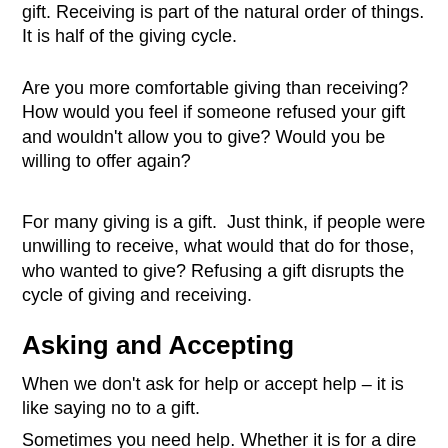gift. Receiving is part of the natural order of things. It is half of the giving cycle.
Are you more comfortable giving than receiving? How would you feel if someone refused your gift and wouldn't allow you to give? Would you be willing to offer again?
For many giving is a gift.  Just think, if people were unwilling to receive, what would that do for those, who wanted to give? Refusing a gift disrupts the cycle of giving and receiving.
Asking and Accepting
When we don't ask for help or accept help – it is like saying no to a gift.
Sometimes you need help. Whether it is for a dire